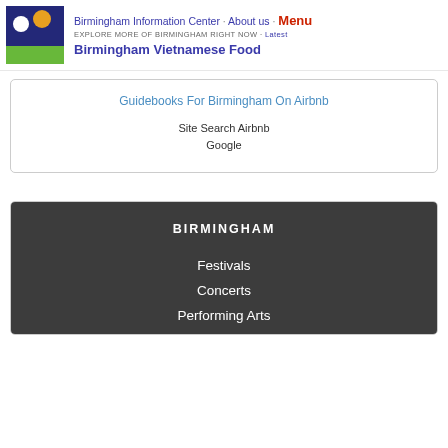Birmingham Information Center · About us · Menu
EXPLORE MORE OF BIRMINGHAM RIGHT NOW · Latest
Birmingham Vietnamese Food
Guidebooks For Birmingham On Airbnb
Site Search Airbnb
Google
[Figure (screenshot): Dark grey panel with white text: BIRMINGHAM heading, then links: Festivals, Concerts, Performing Arts]
BIRMINGHAM
Festivals
Concerts
Performing Arts